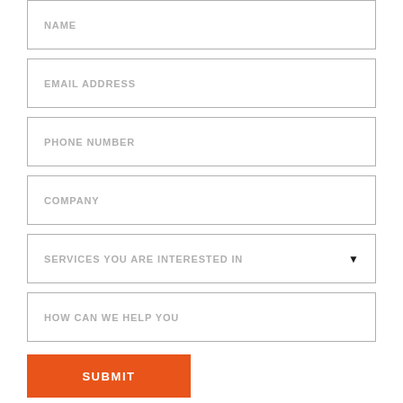NAME
EMAIL ADDRESS
PHONE NUMBER
COMPANY
SERVICES YOU ARE INTERESTED IN
HOW CAN WE HELP YOU
SUBMIT